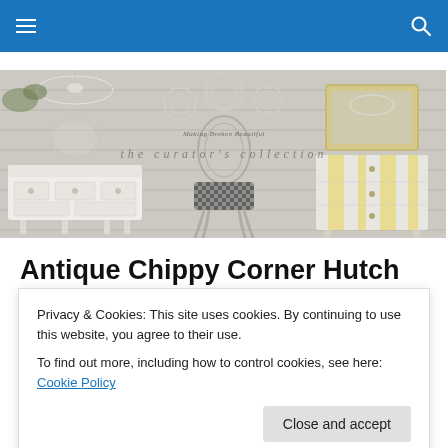Navigation header with hamburger menu and search icon
[Figure (photo): Three-panel photo strip: Left panel shows a white painted French-style buffet/sideboard with a chandelier above and greenery; Center panel shows a chippy painted French chair with houndstooth seat cushion and text overlay 'Making Broken Beautiful'; Right panel shows a pale yellow and white striped dresser with a gold-framed mirror and chandelier above. Overlay watermark text reads 'the curator's collection'.]
Antique Chippy Corner Hutch
Privacy & Cookies: This site uses cookies. By continuing to use this website, you agree to their use.
To find out more, including how to control cookies, see here: Cookie Policy
Over the years I have grown tired of how dark it looks and